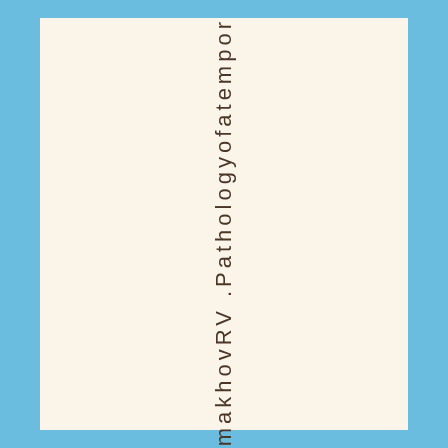SimakhovRV .Pathologyofatempor